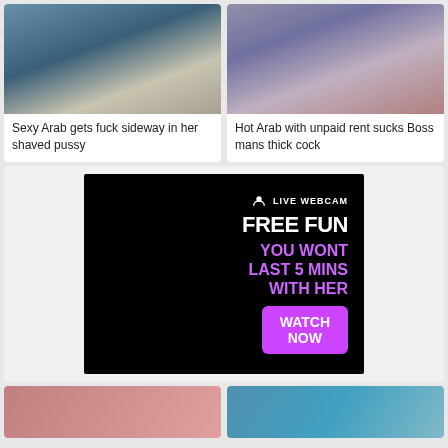[Figure (photo): Thumbnail image for video: Sexy Arab gets fuck sideway in her shaved pussy]
Sexy Arab gets fuck sideway in her shaved pussy
[Figure (photo): Thumbnail image for video: Hot Arab with unpaid rent sucks Boss mans thick cock]
Hot Arab with unpaid rent sucks Boss mans thick cock
[Figure (infographic): Live webcam advertisement. Black background. Text reads: LIVE WEBCAM / FREE FUN / YOU WONT LAST 5 MINS WITH HER / WATCH NOW button in purple.]
[Figure (photo): Partial thumbnail at bottom left]
[Figure (photo): Partial thumbnail at bottom right]